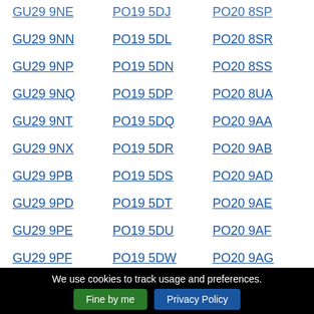GU29 9NE  PO19 5DJ  PO20 8SP
GU29 9NN  PO19 5DL  PO20 8SR
GU29 9NP  PO19 5DN  PO20 8SS
GU29 9NQ  PO19 5DP  PO20 8UA
GU29 9NT  PO19 5DQ  PO20 9AA
GU29 9NX  PO19 5DR  PO20 9AB
GU29 9PB  PO19 5DS  PO20 9AD
GU29 9PD  PO19 5DT  PO20 9AE
GU29 9PE  PO19 5DU  PO20 9AF
GU29 9PF  PO19 5DW  PO20 9AG
GU29 9PG  PO19 5DX  PO20 9AH
GU29 9PH  PO19 5DY  PO20 9AL
GU29 9PI  PO19 5DZ  PO20 9AN
We use cookies to track usage and preferences.
Fine by me | Privacy Policy